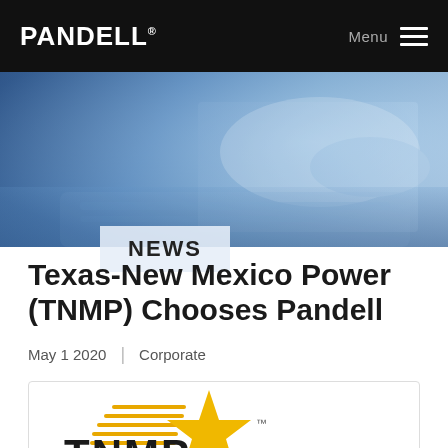PANDELL  Menu
[Figure (photo): Blue-tinted photo of hands writing in a book/notebook, used as a hero banner background image.]
NEWS
Texas-New Mexico Power (TNMP) Chooses Pandell
May 1 2020  |  Corporate
[Figure (logo): TNMP (Texas-New Mexico Power) logo showing a gold star with horizontal speed lines and bold black text 'TNMP' below, with a trademark symbol.]